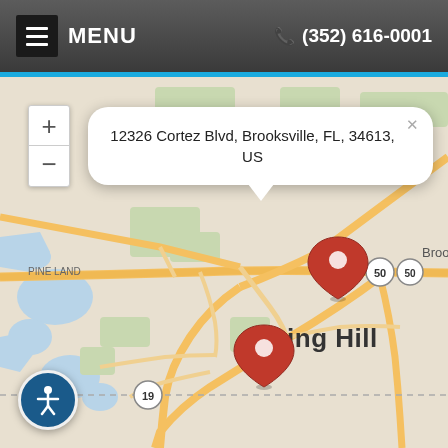MENU   (352) 616-0001
[Figure (map): Google Maps screenshot showing Spring Hill and Brooksville, FL area with two red map pin markers. One pin near 12326 Cortez Blvd, Brooksville with an address popup tooltip. Second pin in Spring Hill area. Map shows roads including Route 50 and Route 19. Place labels: Spring Hill, Broo(ksville). Zoom controls (+/-) visible in upper left.]
12326 Cortez Blvd, Brooksville, FL, 34613, US
Spring Hill